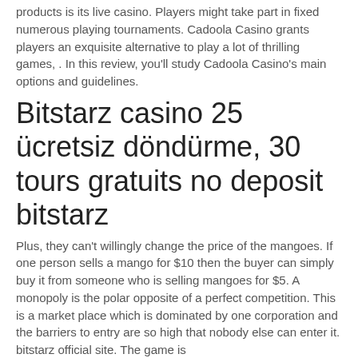products is its live casino. Players might take part in fixed numerous playing tournaments. Cadoola Casino grants players an exquisite alternative to play a lot of thrilling games, . In this review, you'll study Cadoola Casino's main options and guidelines.
Bitstarz casino 25 ücretsiz döndürme, 30 tours gratuits no deposit bitstarz
Plus, they can't willingly change the price of the mangoes. If one person sells a mango for $10 then the buyer can simply buy it from someone who is selling mangoes for $5. A monopoly is the polar opposite of a perfect competition. This is a market place which is dominated by one corporation and the barriers to entry are so high that nobody else can enter it. bitstarz official site. The game is